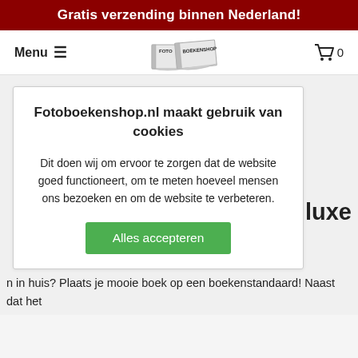Gratis verzending binnen Nederland!
Menu ≡
[Figure (logo): Fotoboekenshop logo with two books]
0
Fotoboekenshop.nl maakt gebruik van cookies
Dit doen wij om ervoor te zorgen dat de website goed functioneert, om te meten hoeveel mensen ons bezoeken en om de website te verbeteren.
Alles accepteren
en luxe
n in huis? Plaats je mooie boek op een boekenstandaard! Naast dat het